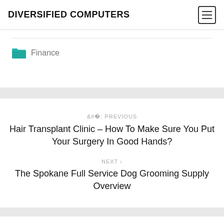DIVERSIFIED COMPUTERS
Finance
< PREVIOUS
Hair Transplant Clinic – How To Make Sure You Put Your Surgery In Good Hands?
NEXT >
The Spokane Full Service Dog Grooming Supply Overview